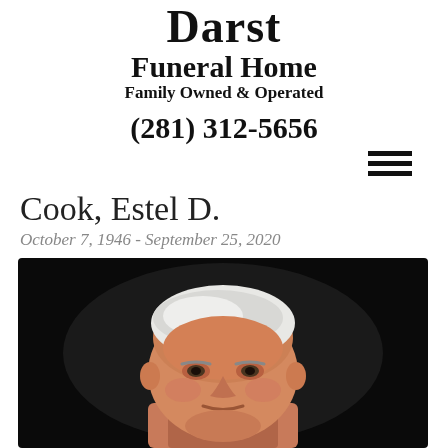Darst Funeral Home Family Owned & Operated
(281) 312-5656
Cook, Estel D.
October 7, 1946 - September 25, 2020
[Figure (photo): Portrait photograph of Estel D. Cook, an elderly man with short white/gray hair, smiling slightly, against a dark background.]